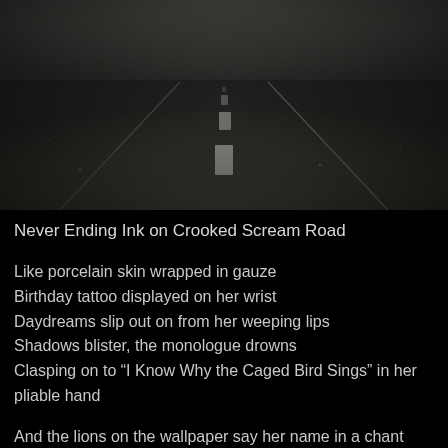[Figure (photo): Black and white photograph of a road receding into the distance, with a dashed white center line visible on dark asphalt pavement, taken from a low angle.]
Never Ending Ink on Crooked Scream Road
Like porcelain skin wrapped in gauze
Birthday tattoo displayed on her wrist
Daydreams slip out on from her weeping lips
Shadows blister, the monologue drowns
Clasping on to “I Know Why the Caged Bird Sings” in her pliable hand
And the lions on the wallpaper say her name in a chant
And the ceiling is her midnight and decorated